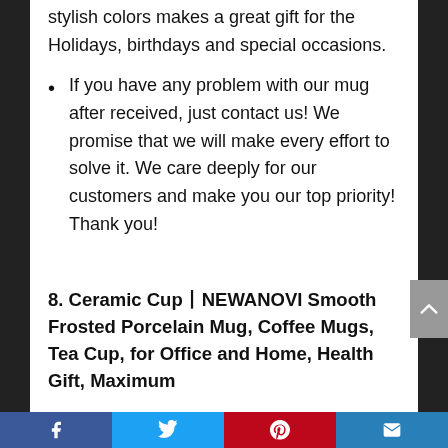stylish colors makes a great gift for the Holidays, birthdays and special occasions.
If you have any problem with our mug after received, just contact us! We promise that we will make every effort to solve it. We care deeply for our customers and make you our top priority! Thank you!
8. Ceramic Cup丨NEWANOVI Smooth Frosted Porcelain Mug, Coffee Mugs, Tea Cup, for Office and Home, Health Gift, Maximum
Facebook | Twitter | Pinterest | Email